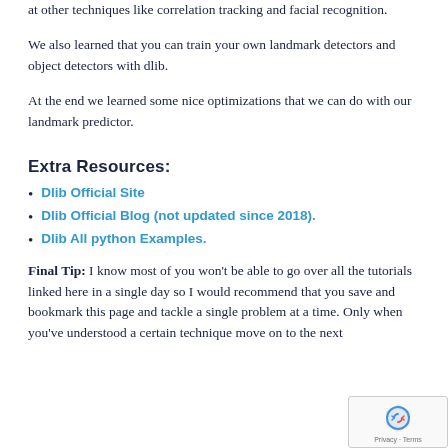at other techniques like correlation tracking and facial recognition.
We also learned that you can train your own landmark detectors and object detectors with dlib.
At the end we learned some nice optimizations that we can do with our landmark predictor.
Extra Resources:
Dlib Official Site
Dlib Official Blog (not updated since 2018).
Dlib All python Examples.
Final Tip: I know most of you won't be able to go over all the tutorials linked here in a single day so I would recommend that you save and bookmark this page and tackle a single problem at a time. Only when you've understood a certain technique move on to the next